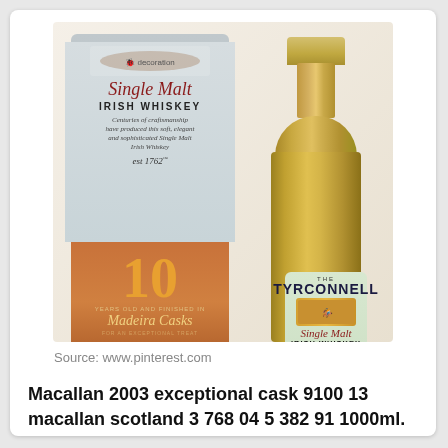[Figure (photo): Photo of Tyrconnell Single Malt Irish Whiskey 10 Years Madeira Cask product — showing both the orange/grey box and the amber glass bottle with green label side by side]
Source: www.pinterest.com
Macallan 2003 exceptional cask 9100 13 macallan scotland 3 768 04 5 382 91 1000ml.